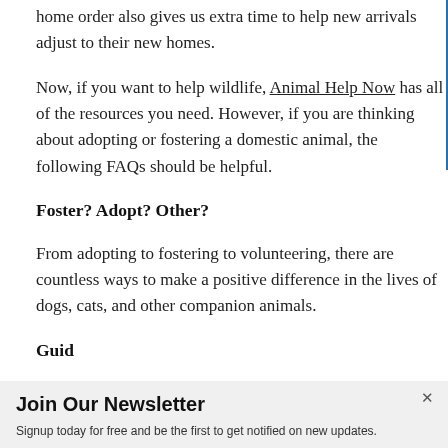home order also gives us extra time to help new arrivals adjust to their new homes.
Now, if you want to help wildlife, Animal Help Now has all of the resources you need. However, if you are thinking about adopting or fostering a domestic animal, the following FAQs should be helpful.
Foster? Adopt? Other?
From adopting to fostering to volunteering, there are countless ways to make a positive difference in the lives of dogs, cats, and other companion animals.
Guid...
Join Our Newsletter
Signup today for free and be the first to get notified on new updates.